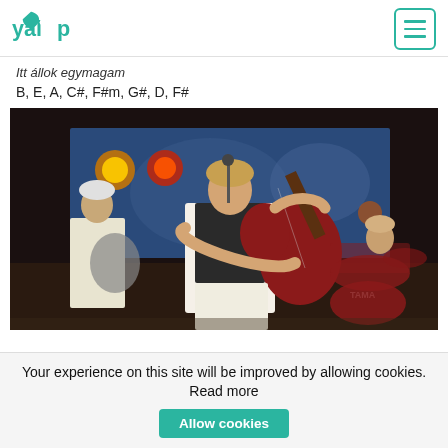yalp
Itt állok egymagam
B, E, A, C#, F#m, G#, D, F#
[Figure (photo): A band performing on stage. A guitarist/vocalist in a white shirt and black vest plays a red electric guitar and sings into a microphone. Another guitarist is visible on the left, and a drummer is visible on the right behind a Tama drum kit. Stage lights and a blue backdrop are visible.]
Your experience on this site will be improved by allowing cookies. Read more
Allow cookies